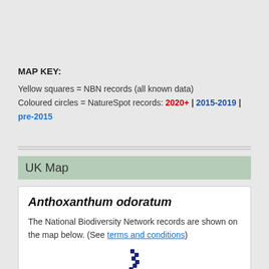MAP KEY:
Yellow squares = NBN records (all known data)
Coloured circles = NatureSpot records: 2020+ | 2015-2019 | pre-2015
UK Map
Anthoxanthum odoratum
The National Biodiversity Network records are shown on the map below. (See terms and conditions)
[Figure (map): Partial UK distribution map showing dot grid records for Anthoxanthum odoratum, dark blue dots visible on right side of map]